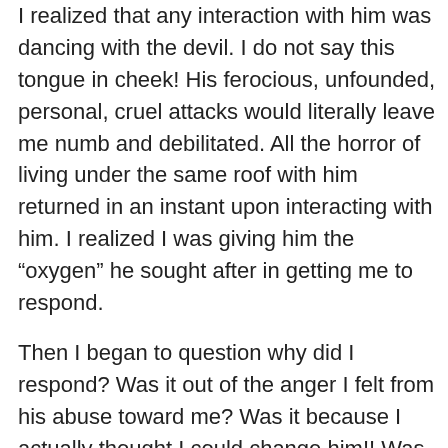I realized that any interaction with him was dancing with the devil. I do not say this tongue in cheek! His ferocious, unfounded, personal, cruel attacks would literally leave me numb and debilitated. All the horror of living under the same roof with him returned in an instant upon interacting with him. I realized I was giving him the “oxygen” he sought after in getting me to respond.

Then I began to question why did I respond? Was it out of the anger I felt from his abuse toward me? Was it because I actually thought I could change him!! Was it because my efforts are necessary in order for the Lord to defend me (absurd)!! And so the bungee cord whips me back into the peace-less confusion of it all